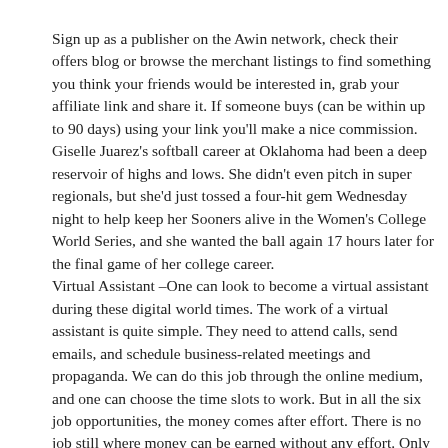Sign up as a publisher on the Awin network, check their offers blog or browse the merchant listings to find something you think your friends would be interested in, grab your affiliate link and share it. If someone buys (can be within up to 90 days) using your link you'll make a nice commission. Giselle Juarez's softball career at Oklahoma had been a deep reservoir of highs and lows. She didn't even pitch in super regionals, but she'd just tossed a four-hit gem Wednesday night to help keep her Sooners alive in the Women's College World Series, and she wanted the ball again 17 hours later for the final game of her college career.
Virtual Assistant –One can look to become a virtual assistant during these digital world times. The work of a virtual assistant is quite simple. They need to attend calls, send emails, and schedule business-related meetings and propaganda. We can do this job through the online medium, and one can choose the time slots to work. But in all the six job opportunities, the money comes after effort. There is no job still where money can be earned without any effort. Only the ministers and the politicians can earn money without taking many efforts.